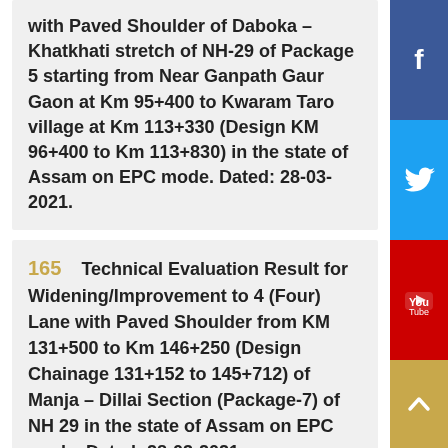with Paved Shoulder of Daboka – Khatkhati stretch of NH-29 of Package 5 starting from Near Ganpath Gaur Gaon at Km 95+400 to Kwaram Taro village at Km 113+330 (Design KM 96+400 to Km 113+830) in the state of Assam on EPC mode. Dated: 28-03-2021.
165    Technical Evaluation Result for Widening/Improvement to 4 (Four) Lane with Paved Shoulder from KM 131+500 to Km 146+250 (Design Chainage 131+152 to 145+712) of Manja – Dillai Section (Package-7) of NH 29 in the state of Assam on EPC mode. Dated: 28-03-2021.
166    Technical Evaluation Result for